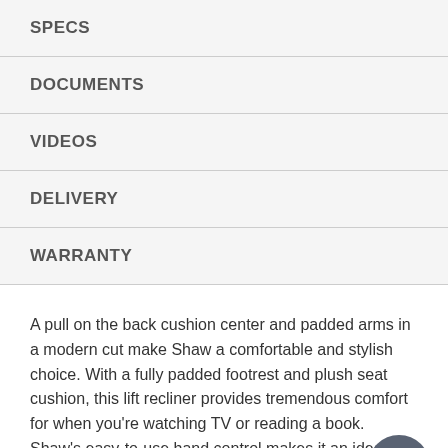SPECS
DOCUMENTS
VIDEOS
DELIVERY
WARRANTY
A pull on the back cushion center and padded arms in a modern cut make Shaw a comfortable and stylish choice. With a fully padded footrest and plush seat cushion, this lift recliner provides tremendous comfort for when you're watching TV or reading a book. Shaw's easy-to-use hand control makes it an ideal piece for your home.